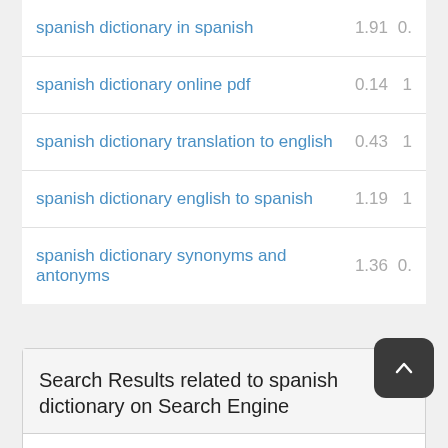| Keyword | Val1 | Val2 |
| --- | --- | --- |
| spanish dictionary in spanish | 1.91 | 0. |
| spanish dictionary online pdf | 0.14 | 1 |
| spanish dictionary translation to english | 0.43 | 1 |
| spanish dictionary english to spanish | 1.19 | 1 |
| spanish dictionary synonyms and antonyms | 1.36 | 0. |
Search Results related to spanish dictionary on Search Engine
✔Lonzo Ball (@zo) • Instagram photos and videos 🌐
instagram.com